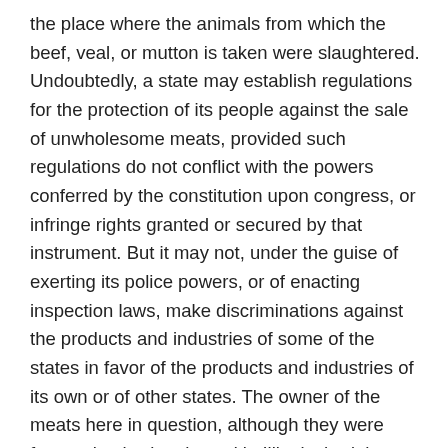the place where the animals from which the beef, veal, or mutton is taken were slaughtered. Undoubtedly, a state may establish regulations for the protection of its people against the sale of unwholesome meats, provided such regulations do not conflict with the powers conferred by the constitution upon congress, or infringe rights granted or secured by that instrument. But it may not, under the guise of exerting its police powers, or of enacting inspection laws, make discriminations against the products and industries of some of the states in favor of the products and industries of its own or of other states. The owner of the meats here in question, although they were from animals slaughtered in Illinois, had the right, under the constitution, to compete in the markets of Virginia upon terms of equality with the owners of like meats, from animals slaughtered in Virginia or elsewhere within 100 miles from the place of sale. Any local regulation which, in terms or by its necessary operation, denies this equality in the markets of a state is a burden